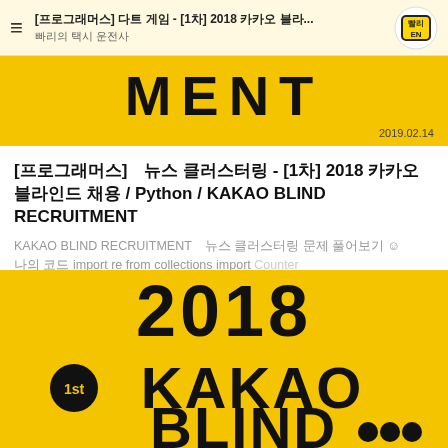[프로그래머스]  다트 게임 - [1차] 2018 카카오 블라... / 빠리의 택시 운전사
MENT
2019.02.14
[프로그래머스]  뉴스 클러스터링 - [1차] 2018 카카오 블라인드 채용 / Python / KAKAO BLIND RECRUITMENT
KAKAO BLIND RECRUITMENT  뉴스 클러스터링 문제 풀어보기 😊
나의 코드 import re from collections import Counter
[Figure (other): 2018 1st KAKAO BLIND (recruitment banner in yellow and black)]